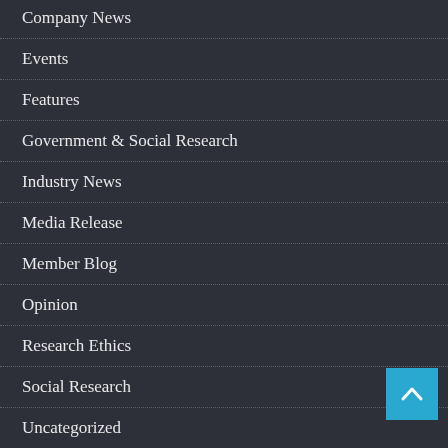Company News
Events
Features
Government & Social Research
Industry News
Media Release
Member Blog
Opinion
Research Ethics
Social Research
Uncategorized
AUTHORS
JANE GREGORY
published 2 articles